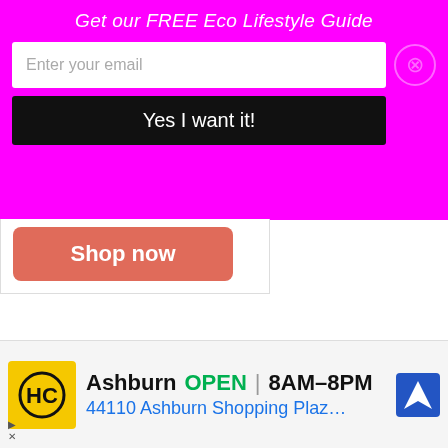Get our FREE Eco Lifestyle Guide
Enter your email
Yes I want it!
Shop now
Support our work
$ 1.00
$1
$2
[Figure (screenshot): Ashburn OPEN 8AM-8PM, 44110 Ashburn Shopping Plaz... HC logo and navigation icon ad banner]